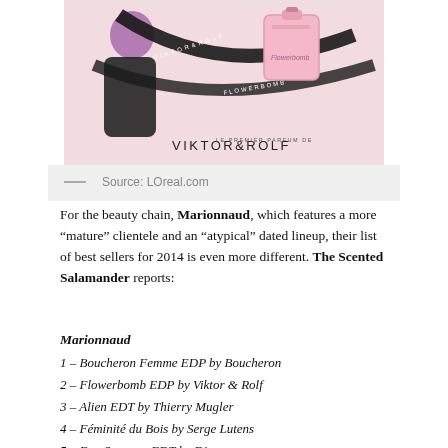[Figure (photo): Viktor & Rolf perfume advertisement image with pink background, a model with purple hair and black ribbons, and a pink perfume bottle. The brand name VIKTOR & ROLF appears at the bottom.]
— Source: LOreal.com
For the beauty chain, Marionnaud, which features a more “mature” clientele and an “atypical” dated lineup, their list of best sellers for 2014 is even more different. The Scented Salamander reports:
Marionnaud
1 – Boucheron Femme EDP by Boucheron
2 – Flowerbomb EDP by Viktor & Rolf
3 – Alien EDT by Thierry Mugler
4 – Féminité du Bois by Serge Lutens
5 – Eau Sauvage EDT by Dior
6 – Magie Noire EDT by Lancôme